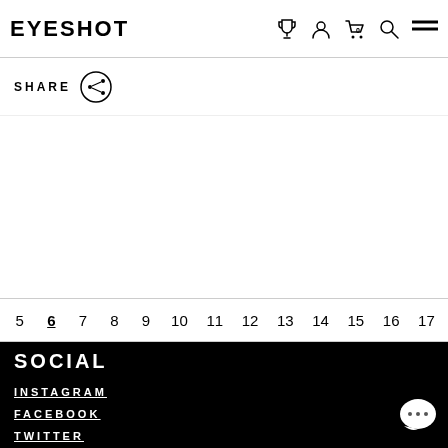EYESHOT
[Figure (other): Share button with circle icon]
SHARE
5 6 7 8 9 10 11 12 13 14 15 16 17
SOCIAL
INSTAGRAM
FACEBOOK
TWITTER